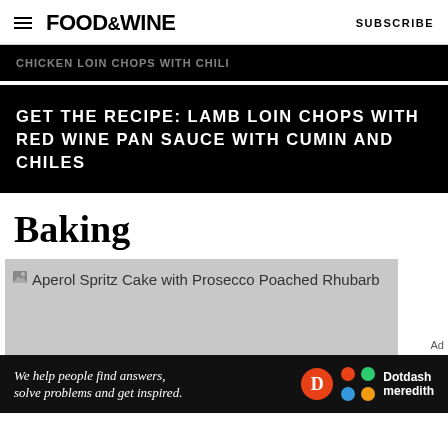FOOD&WINE   SUBSCRIBE
[Figure (other): Dark banner with partially visible text]
GET THE RECIPE: LAMB LOIN CHOPS WITH RED WINE PAN SAUCE WITH CUMIN AND CHILES
Baking
[Figure (photo): Aperol Spritz Cake with Prosecco Poached Rhubarb - image placeholder in grey]
[Figure (other): Dotdash Meredith advertisement bar: 'We help people find answers, solve problems and get inspired.']